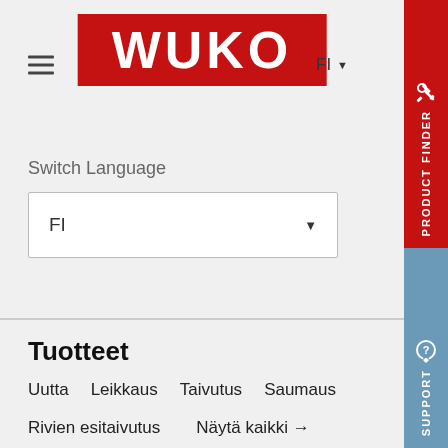[Figure (logo): WUKO logo: white bold text on red background]
FI ▾
Switch Language
FI ▾
Tuotteet
Uutta   Leikkaus   Taivutus   Saumaus
Rivien esitaivutus   Näytä kaikki →
[Figure (other): PRODUCT FINDER red vertical sidebar tab with wrench icon]
[Figure (other): SUPPORT blue vertical sidebar tab with chat icon]